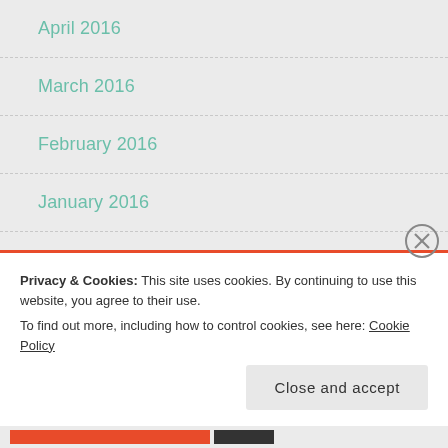April 2016
March 2016
February 2016
January 2016
December 2015
November 2015
October 2015
Privacy & Cookies: This site uses cookies. By continuing to use this website, you agree to their use.
To find out more, including how to control cookies, see here: Cookie Policy
Close and accept